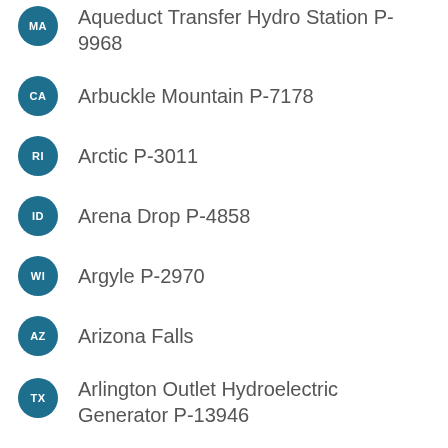MA — Aqueduct Transfer Hydro Station P-9968
CA — Arbuckle Mountain P-7178
RI — Arctic P-3011
ID — Arena Drop P-4858
WI — Argyle P-2970
AZ — Arizona Falls
TX — Arlington Outlet Hydroelectric Generator P-13946
AK — Armstrong-Keta P-8875
VT — Arnold Falls P-2399